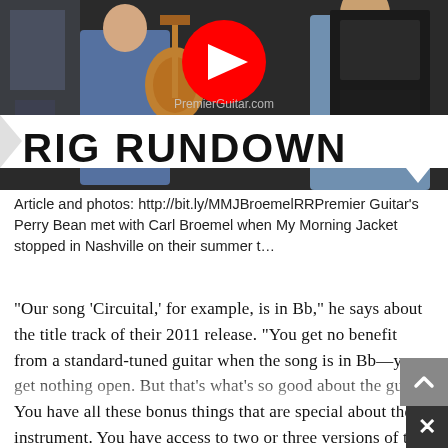[Figure (screenshot): YouTube video thumbnail showing two people with a guitar, overlaid with YouTube play button logo and 'RIG RUNDOWN' banner text, and PremierGuitar.com watermark]
Article and photos: http://bit.ly/MMJBroemelRRPremier Guitar's Perry Bean met with Carl Broemel when My Morning Jacket stopped in Nashville on their summer t...
"Our song 'Circuital,' for example, is in Bb," he says about the title track of their 2011 release. "You get no benefit from a standard-tuned guitar when the song is in Bb—you get nothing open. But that's what's so good about the guitar. You have all these bonus things that are special about the instrument. You have access to two or three versions of the same note. I like to use unisons, an open string with a fretted note, or an open string with a harmony, and play with that—play high on the neck but